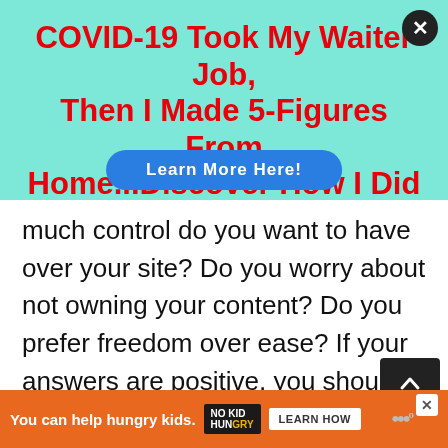[Figure (screenshot): Advertisement banner with teal/mint background showing promotional text about COVID-19 and making money from home, with a blue 'Learn More Here!' button and a black close button in the top right corner.]
COVID-19 Took My Waiter Job, Then I Made 5-Figures From Home...Discover How I Did It!
much control do you want to have over your site? Do you worry about not owning your content? Do you prefer freedom over ease? If your answers are positive, you should continue reading this article! If not, WordPress.com may be the WordPress for
[Figure (screenshot): Orange advertisement banner at the bottom: 'You can help hungry kids.' with No Kid Hungry logo and 'LEARN HOW' button.]